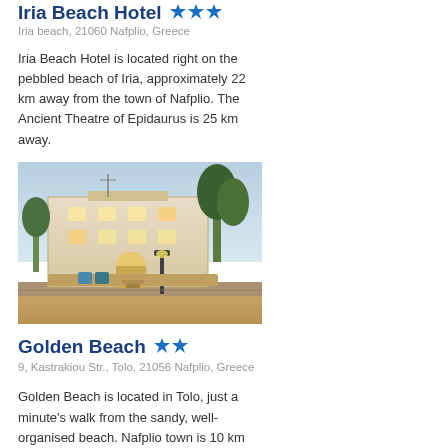Iria Beach Hotel ★★★
Iria beach, 21060 Nafplio, Greece
Iria Beach Hotel is located right on the pebbled beach of Iria, approximately 22 km away from the town of Nafplio. The Ancient Theatre of Epidaurus is 25 km away.
[Figure (photo): Exterior photo of Iria Beach Hotel at dusk showing the hotel building with arched entrance, trees, and a street lamp in the foreground]
Golden Beach ★★
9, Kastrakiou Str., Tolo, 21056 Nafplio, Greece
Golden Beach is located in Tolo, just a minute's walk from the sandy, well-organised beach. Nafplio town is 10 km away from the property.